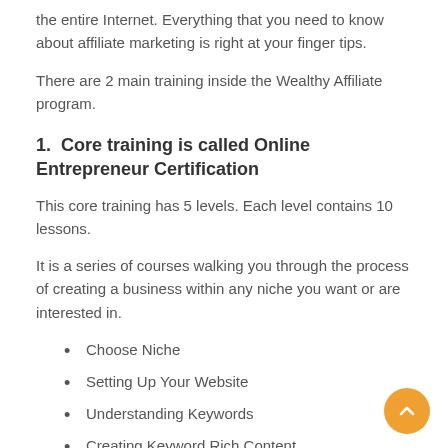the entire Internet. Everything that you need to know about affiliate marketing is right at your finger tips.
There are 2 main training inside the Wealthy Affiliate program.
1.  Core training is called Online Entrepreneur Certification
This core training has 5 levels. Each level contains 10 lessons.
It is a series of courses walking you through the process of creating a business within any niche you want or are interested in.
Choose Niche
Setting Up Your Website
Understanding Keywords
Creating Keyword Rich Content
The Traffic Breakdown
Low Hanging Fruit